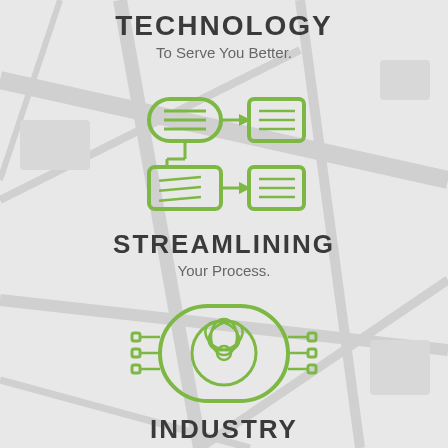TECHNOLOGY
To Serve You Better.
[Figure (illustration): Green icon showing two document/process boxes connected by arrows, representing workflow streamlining]
STREAMLINING
Your Process.
[Figure (illustration): Green icon showing a mechanical/industrial component with circular shape and side grips, representing industry]
INDUSTRY